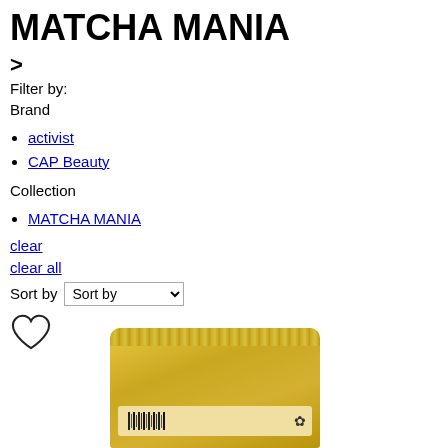MATCHA MANIA
>
Filter by:
Brand
activist
CAP Beauty
Collection
MATCHA MANIA
clear
clear all
Sort by  Sort by
[Figure (other): Heart/wishlist icon (outlined)]
[Figure (photo): Gold/yellow metallic resealable pouch product packaging with a label strip and barcode, partially cropped at bottom of page]